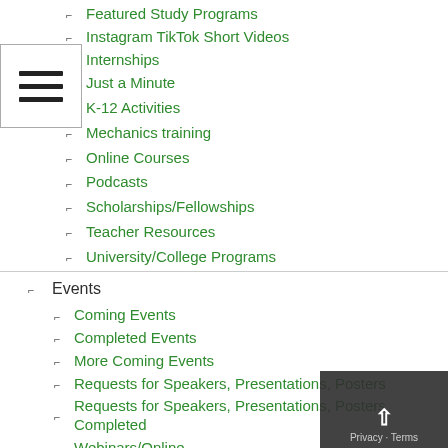Featured Study Programs
Instagram TikTok Short Videos
Internships
Just a Minute
K-12 Activities
Mechanics training
Online Courses
Podcasts
Scholarships/Fellowships
Teacher Resources
University/College Programs
Events
Coming Events
Completed Events
More Coming Events
Requests for Speakers, Presentations, Posters
Requests for Speakers, Presentations, Posters Completed
Webinars/Online
Webinars/Online Completed; often available on-demand
Federal Agency/Executive Branch
Agriculture
Commerce
National Institute of Standards and Technology (NIST)